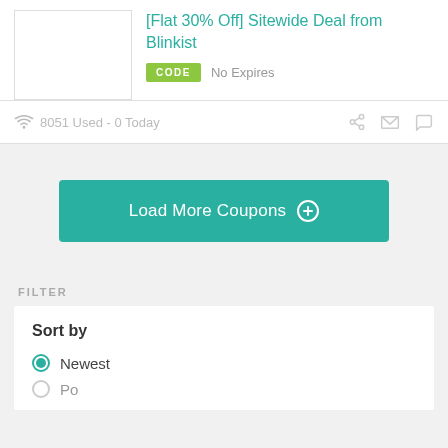[Flat 30% Off] Sitewide Deal from Blinkist
CODE   No Expires
8051 Used - 0 Today
Load More Coupons
FILTER
Sort by
Newest
Popularity